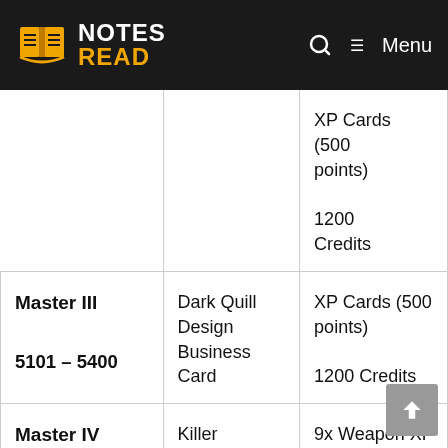NOTES READ — Menu
| Rank | Reward (Cosmetic) | Reward (Other) |
| --- | --- | --- |
| Master III
5101 – 5400 | Dark Quill Design Business Card | XP Cards (500 points)
1200 Credits |
| Master IV
5401 – 5700 | Killer Constrictor Box | 9x Weapon XP Cards (500 points)
1300 |